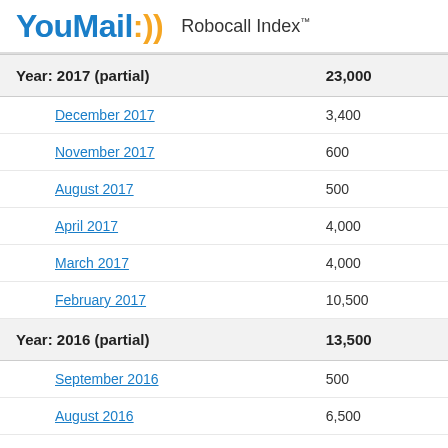YouMail:)) Robocall Index™
| Period | Value |
| --- | --- |
| Year: 2017 (partial) | 23,000 |
| December 2017 | 3,400 |
| November 2017 | 600 |
| August 2017 | 500 |
| April 2017 | 4,000 |
| March 2017 | 4,000 |
| February 2017 | 10,500 |
| Year: 2016 (partial) | 13,500 |
| September 2016 | 500 |
| August 2016 | 6,500 |